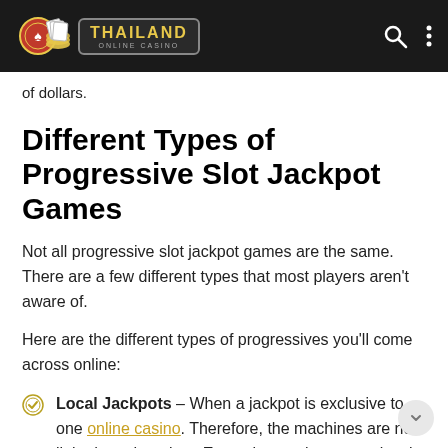Thailand Online Casino
of dollars.
Different Types of Progressive Slot Jackpot Games
Not all progressive slot jackpot games are the same. There are a few different types that most players aren't aware of.
Here are the different types of progressives you'll come across online:
Local Jackpots – When a jackpot is exclusive to one online casino. Therefore, the machines are not linked to other sites. Every time a player on a local